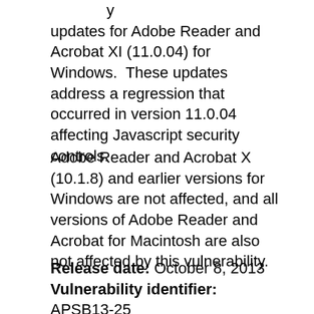y updates for Adobe Reader and Acrobat XI (11.0.04) for Windows.  These updates address a regression that occurred in version 11.0.04 affecting Javascript security controls.
Adobe Reader and Acrobat X (10.1.8) and earlier versions for Windows are not affected, and all versions of Adobe Reader and Acrobat for Macintosh are also not affected by this vulnerability.
Release date: October 8, 2013
Vulnerability identifier: APSB13-25
CVE number: CVE-2013-